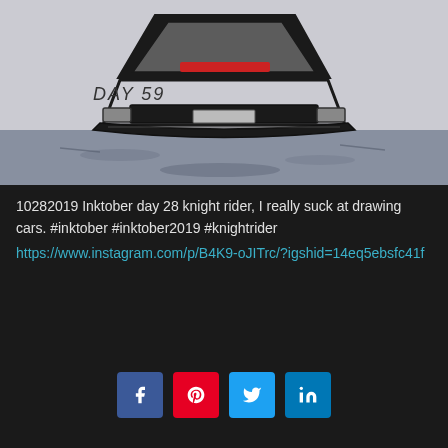[Figure (illustration): Ink drawing of a car (Knight Rider themed) viewed from front/above angle, with 'DAY 59' handwritten text visible, placed against a light gray background. Lower portion shows a dark gray/blue shadow area beneath the drawing.]
10282019 Inktober day 28 knight rider, I really suck at drawing cars. #inktober #inktober2019 #knightrider https://www.instagram.com/p/B4K9-oJITrc/?igshid=14eq5ebsfc41f
[Figure (infographic): Social share buttons: Facebook (blue), Pinterest (red), Twitter (cyan), LinkedIn (blue)]